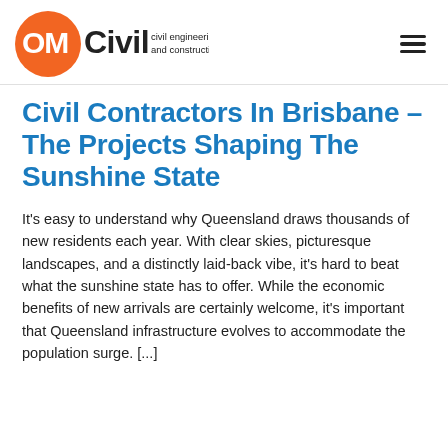OM Civil – civil engineering and construction
Civil Contractors In Brisbane – The Projects Shaping The Sunshine State
It's easy to understand why Queensland draws thousands of new residents each year. With clear skies, picturesque landscapes, and a distinctly laid-back vibe, it's hard to beat what the sunshine state has to offer. While the economic benefits of new arrivals are certainly welcome, it's important that Queensland infrastructure evolves to accommodate the population surge. [...]